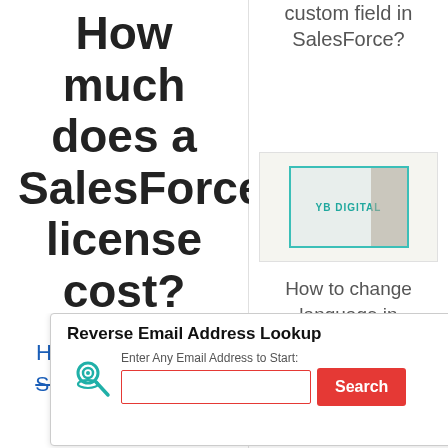How much does a SalesForce license cost?
How much does a
SalesForce license cost?
custom field in SalesForce?
[Figure (screenshot): Thumbnail image showing YB Digital branding with teal border]
How to change language in SalesForce lightning?
[Figure (infographic): Reverse Email Address Lookup ad banner with PeopleLooker logo, email input field, and red Search button]